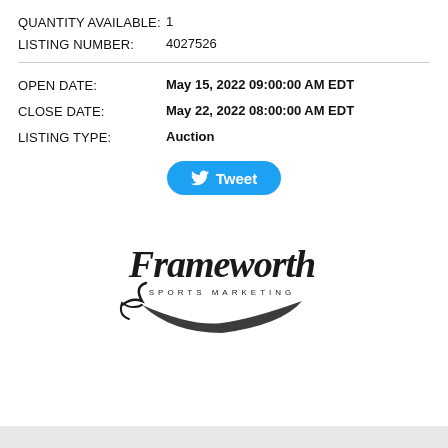QUANTITY AVAILABLE: 1
LISTING NUMBER: 4027526
OPEN DATE: May 15, 2022 09:00:00 AM EDT
CLOSE DATE: May 22, 2022 08:00:00 AM EDT
LISTING TYPE: Auction
[Figure (logo): Frameworth Sports Marketing logo — cursive script 'Frameworth' with 'SPORTS MARKETING' underneath and a decorative swoosh/swash element]